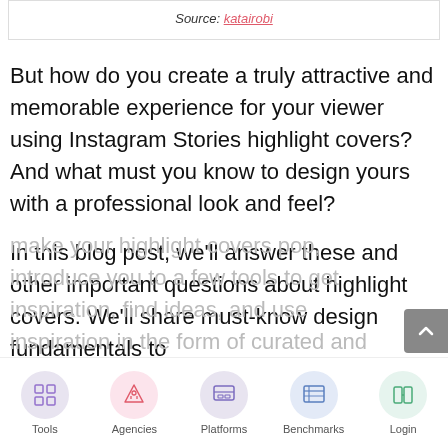Source: katairobi
But how do you create a truly attractive and memorable experience for your viewer using Instagram Stories highlight covers? And what must you know to design yours with a professional look and feel?
In this blog post, we'll answer these and other important questions about highlight covers. We'll share must-know design fundamentals to make your highlight covers pop, introduce you to a few tools to get inspiration, find ideas, and use inspiration in the form of curated and...
Tools  Agencies  Platforms  Benchmarks  Login